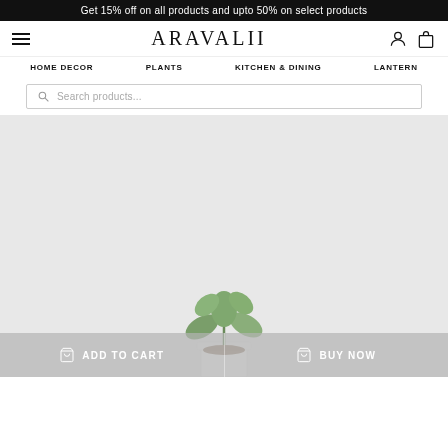Get 15% off on all products and upto 50% on select products
ARAVALII
HOME DECOR    PLANTS    KITCHEN & DINING    LANTERN
Search products...
[Figure (photo): A small succulent plant in a white pot against a light grey background]
ADD TO CART    BUY NOW